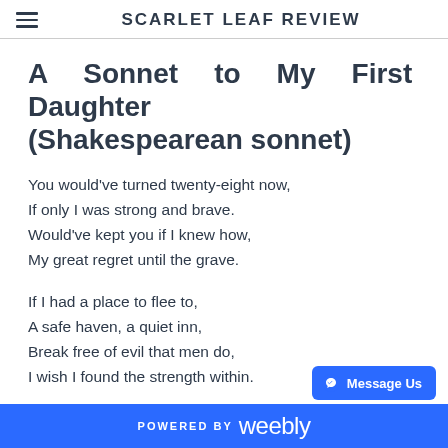SCARLET LEAF REVIEW
A Sonnet to My First Daughter (Shakespearean sonnet)
You would've turned twenty-eight now,
If only I was strong and brave.
Would've kept you if I knew how,
My great regret until the grave.
If I had a place to flee to,
A safe haven, a quiet inn,
Break free of evil that men do,
I wish I found the strength within.
POWERED BY weebly